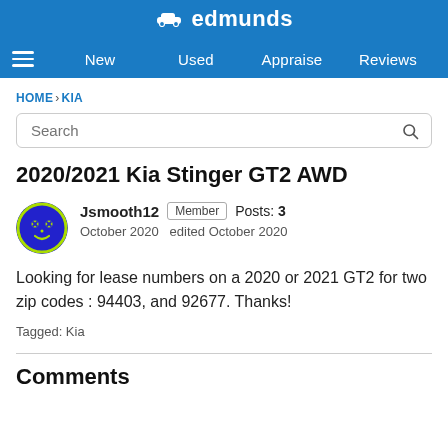edmunds — New | Used | Appraise | Reviews
HOME › KIA
Search
2020/2021 Kia Stinger GT2 AWD
Jsmooth12  Member  Posts: 3
October 2020  edited October 2020
Looking for lease numbers on a 2020 or 2021 GT2 for two zip codes : 94403, and 92677. Thanks!
Tagged: Kia
Comments